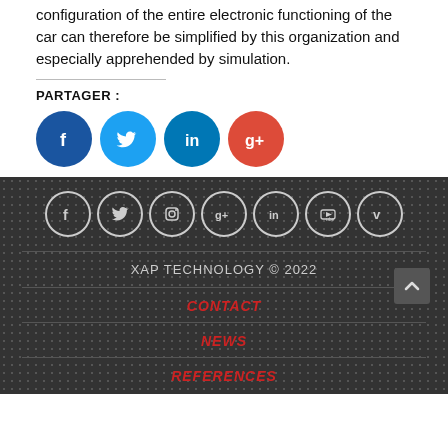configuration of the entire electronic functioning of the car can therefore be simplified by this organization and especially apprehended by simulation.
PARTAGER :
[Figure (infographic): Social sharing buttons: Facebook (blue), Twitter (light blue), LinkedIn (blue), Google+ (red)]
Footer section with social media icons (Facebook, Twitter, Instagram, Google+, LinkedIn, YouTube, Vimeo), XAP TECHNOLOGY © 2022, links: CONTACT, NEWS, REFERENCES